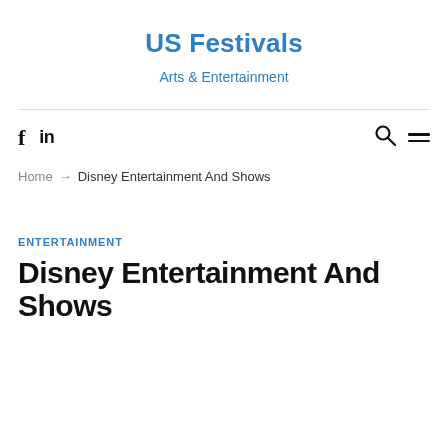US Festivals
Arts & Entertainment
f  in
Home → Disney Entertainment And Shows
ENTERTAINMENT
Disney Entertainment And Shows